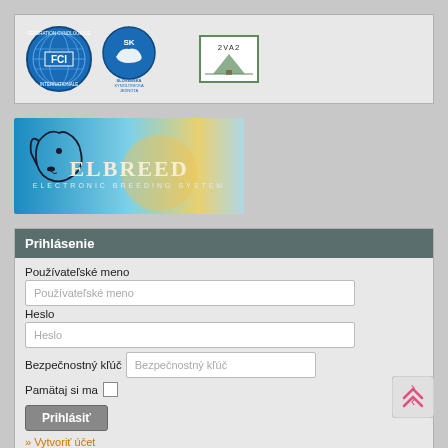[Figure (logo): FCI (Fédération Cynologique Internationale) circular blue logo with globe and text around the border]
[Figure (logo): SKJ (Slovenská Kynologická Jednota) blue logo with stylized dog and text]
[Figure (other): Small green-bordered CAPTCHA stamp image with text '2VA2' and tree illustration]
[Figure (illustration): Elbreed Electronic Breeding System banner - blue gradient background with dog head silhouette and ELBREED text in gold/white]
Prihlásenie
Používateľské meno
Používateľské meno
Heslo
Heslo
Bezpečnostný kľúč
Bezpečnostný kľúč
Pamätaj si ma
Prihlásiť
Vytvoriť účet